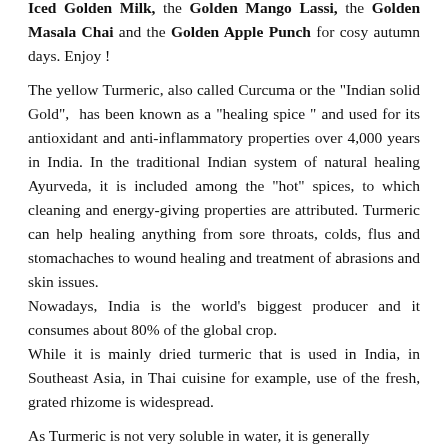Iced Golden Milk, the Golden Mango Lassi, the Golden Masala Chai and the Golden Apple Punch for cosy autumn days. Enjoy !
The yellow Turmeric, also called Curcuma or the "Indian solid Gold", has been known as a "healing spice" and used for its antioxidant and anti-inflammatory properties over 4,000 years in India. In the traditional Indian system of natural healing Ayurveda, it is included among the "hot" spices, to which cleaning and energy-giving properties are attributed. Turmeric can help healing anything from sore throats, colds, flus and stomachaches to wound healing and treatment of abrasions and skin issues.
Nowadays, India is the world's biggest producer and it consumes about 80% of the global crop.
While it is mainly dried turmeric that is used in India, in Southeast Asia, in Thai cuisine for example, use of the fresh, grated rhizome is widespread.
As Turmeric is not very soluble in water, it is generally...